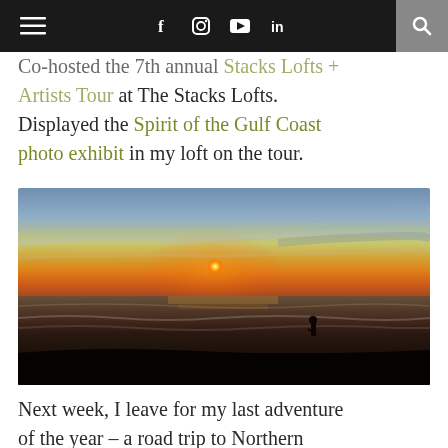Navigation bar with hamburger menu, social icons (Facebook, Instagram, YouTube, LinkedIn), and search icon
Co-hosted the 7th annual Stacks Lofts + Artists Tour at The Stacks Lofts. Displayed the Spirit of the Gulf Coast photo exhibit in my loft on the tour.
[Figure (photo): Dramatic beach sunset photo showing a silhouetted person standing at the ocean's edge with waves, golden sun on the horizon with orange and yellow glow, dark sandy beach in foreground, moody sky with clouds.]
Next week, I leave for my last adventure of the year – a road trip to Northern